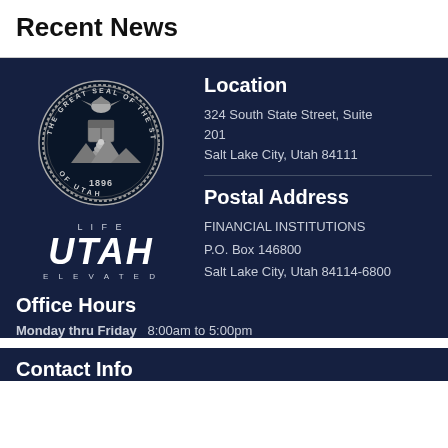Recent News
[Figure (logo): Great Seal of the State of Utah, 1896, circular emblem with eagle and shield]
[Figure (logo): Utah Life Elevated logo - text logo with LIFE UTAH ELEVATED]
Location
324 South State Street, Suite 201
Salt Lake City, Utah 84111
Postal Address
FINANCIAL INSTITUTIONS
P.O. Box 146800
Salt Lake City, Utah 84114-6800
Office Hours
Monday thru Friday   8:00am to 5:00pm
Contact Info